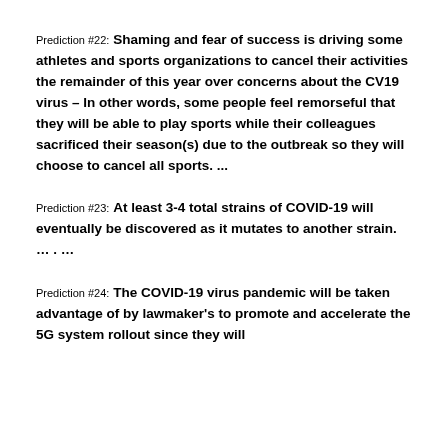Prediction #22: Shaming and fear of success is driving some athletes and sports organizations to cancel their activities the remainder of this year over concerns about the CV19 virus – In other words, some people feel remorseful that they will be able to play sports while their colleagues sacrificed their season(s) due to the outbreak so they will choose to cancel all sports. ...
Prediction #23: At least 3-4 total strains of COVID-19 will eventually be discovered as it mutates to another strain. … . …
Prediction #24: The COVID-19 virus pandemic will be taken advantage of by lawmaker's to promote and accelerate the 5G system rollout since they will